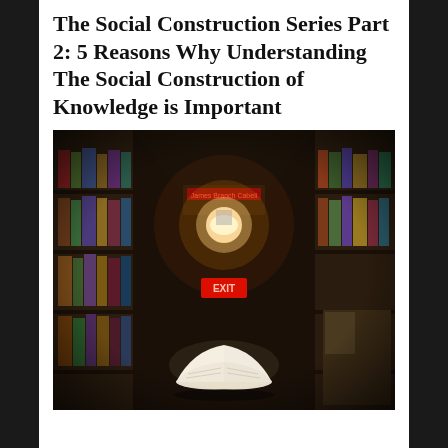The Social Construction Series Part 2: 5 Reasons Why Understanding The Social Construction of Knowledge is Important
[Figure (photo): Dark interior of a library or bookstore with tall shelves filled with books on both sides, a glowing overhead light, an EXIT sign in red, and an open book floating/held in the center foreground, creating a dramatic perspective shot.]